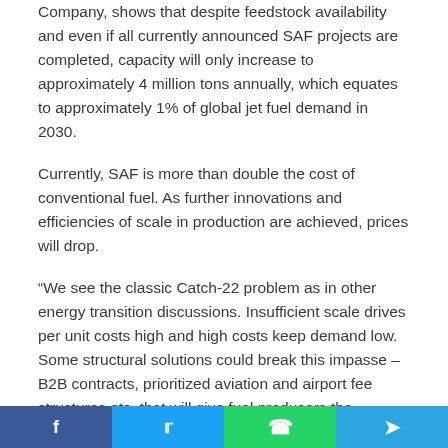Company, shows that despite feedstock availability and even if all currently announced SAF projects are completed, capacity will only increase to approximately 4 million tons annually, which equates to approximately 1% of global jet fuel demand in 2030.
Currently, SAF is more than double the cost of conventional fuel. As further innovations and efficiencies of scale in production are achieved, prices will drop.
“We see the classic Catch-22 problem as in other energy transition discussions. Insufficient scale drives per unit costs high and high costs keep demand low. Some structural solutions could break this impasse – B2B contracts, prioritized aviation and airport fee structures etc. that will give fuel producers the required
Facebook | Twitter | WhatsApp | Telegram